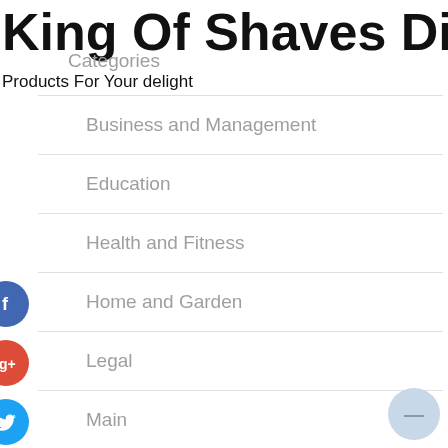King Of Shaves Direct
Products For Your delight
Categories
Business and Management
Education
Health and Fitness
Home and Garden
Legal
Main
Marketing and Advertising
Technology and Gadgets